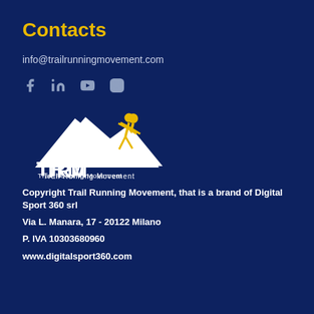Contacts
info@trailrunningmovement.com
[Figure (infographic): Social media icons: Facebook, LinkedIn, YouTube, Instagram]
[Figure (logo): TRM Trail Running Movement logo with white mountain shape and yellow running figure]
Copyright Trail Running Movement, that is a brand of Digital Sport 360 srl
Via L. Manara, 17 - 20122 Milano
P. IVA 10303680960
www.digitalsport360.com